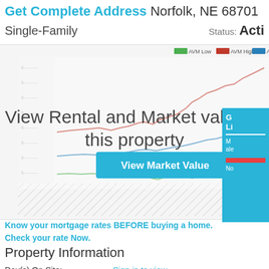Get Complete Address Norfolk, NE 68701
Single-Family   Status: Acti
[Figure (line-chart): Line chart showing AVM Low (green), AVM High (red), and AVM (blue) trend lines over time with blurred y-axis labels. Overlaid with 'View Rental and Market value of this property' text and a 'View Market Value' button.]
Know your mortgage rates BEFORE buying a home. Check your rate Now.
Property Information
Day(s) On Site:   Sign in to view